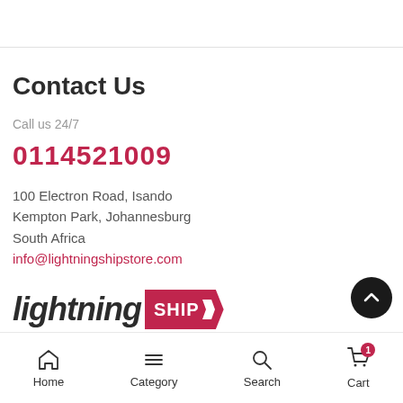Contact Us
Call us 24/7
0114521009
100 Electron Road, Isando
Kempton Park, Johannesburg
South Africa
info@lightningshipstore.com
[Figure (logo): Lightning Ship store logo — 'lightning' in bold italic dark text followed by 'SHIP' on a red badge with arrow cut]
Home  Category  Search  Cart